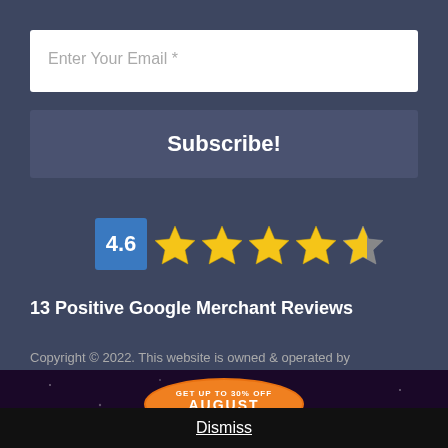Enter Your Email *
Subscribe!
[Figure (infographic): Rating badge showing 4.6 score in blue box followed by 4.6 gold stars (4 full stars and 1 partial/half star)]
13 Positive Google Merchant Reviews
Copyright © 2022. This website is owned & operated by
[Figure (infographic): August promotional banner with orange ribbon badge on dark purple/red background reading GET UP TO 30% OFF AUGUST]
Dismiss